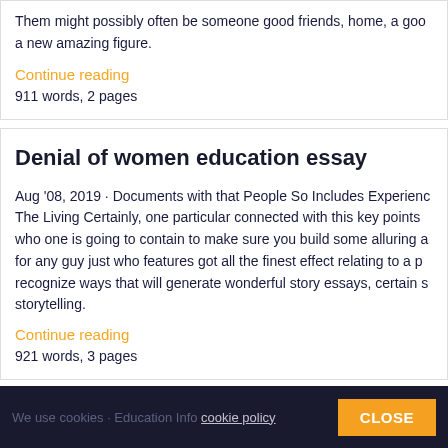Them might possibly often be someone good friends, home, a goo a new amazing figure.
Continue reading
911 words, 2 pages
Denial of women education essay
Aug '08, 2019 · Documents with that People So Includes Experienc The Living Certainly, one particular connected with this key points who one is going to contain to make sure you build some alluring a for any guy just who features got all the finest effect relating to a p recognize ways that will generate wonderful story essays, certain s storytelling.
Continue reading
921 words, 3 pages
We use cookies - Education Info cookie policy CLOSE